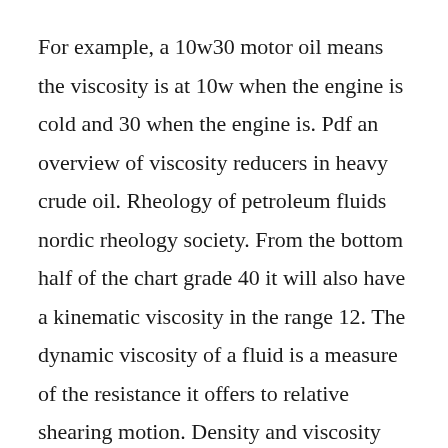For example, a 10w30 motor oil means the viscosity is at 10w when the engine is cold and 30 when the engine is. Pdf an overview of viscosity reducers in heavy crude oil. Rheology of petroleum fluids nordic rheology society. From the bottom half of the chart grade 40 it will also have a kinematic viscosity in the range 12. The dynamic viscosity of a fluid is a measure of the resistance it offers to relative shearing motion. Density and viscosity measurement of diesel fuels at combined high pressure and elevated